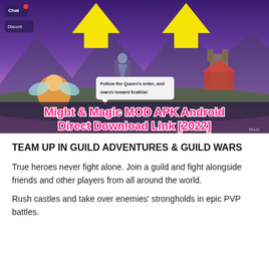[Figure (screenshot): Screenshot of a Might & Magic MOD APK promotional image showing a fantasy game scene with a warrior statue on a pedestal, mountains, a village, yellow arrows pointing upward, a speech bubble saying 'Follow the Queen's order, and march toward Erathia!', and pink bold text reading 'Might & Magic MOD APK Android Direct Download Link [2022]']
TEAM UP IN GUILD ADVENTURES & GUILD WARS
True heroes never fight alone. Join a guild and fight alongside friends and other players from all around the world.
Rush castles and take over enemies' strongholds in epic PVP battles.